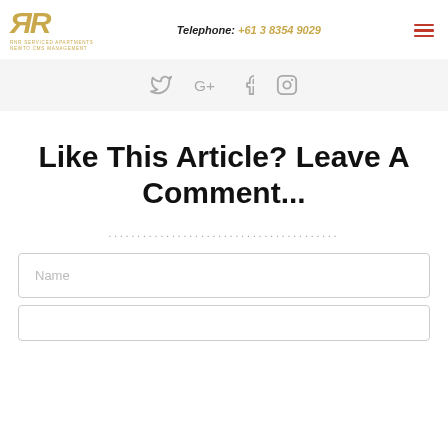RR | Telephone: +61 3 8354 9029
[Figure (other): Social media icons: Twitter, Google+, Facebook, Instagram]
Like This Article? Leave A Comment...
........................................
Name
(partial form field)